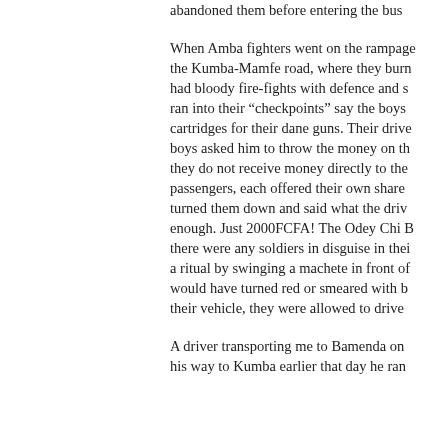abandoned them before entering the bus...
When Amba fighters went on the rampage on the Kumba-Mamfe road, where they burn... had bloody fire-fights with defence and s... ran into their “checkpoints” say the boys... cartridges for their dane guns. Their drive... boys asked him to throw the money on th... they do not receive money directly to the... passengers, each offered their own share... turned them down and said what the drive... enough. Just 2000FCFA! The Odey Chi B... there were any soldiers in disguise in thei... a ritual by swinging a machete in front of... would have turned red or smeared with b... their vehicle, they were allowed to drive ...
A driver transporting me to Bamenda on... his way to Kumba earlier that day he ran...